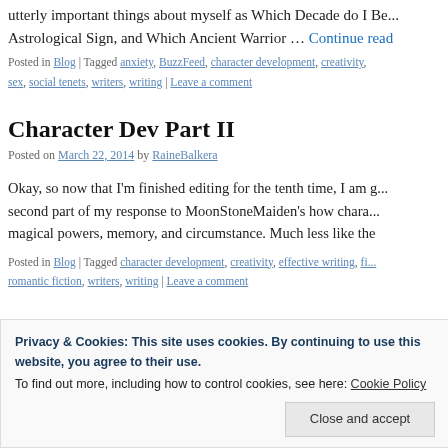utterly important things about myself as Which Decade do I Be... Astrological Sign, and Which Ancient Warrior … Continue reading
Posted in Blog | Tagged anxiety, BuzzFeed, character development, creativity, sex, social tenets, writers, writing | Leave a comment
Character Dev Part II
Posted on March 22, 2014 by RaineBalkera
Okay, so now that I'm finished editing for the tenth time, I am g... second part of my response to MoonStoneMaiden's how chara... magical powers, memory, and circumstance. Much less like the
Posted in Blog | Tagged character development, creativity, effective writing, fi... romantic fiction, writers, writing | Leave a comment
Privacy & Cookies: This site uses cookies. By continuing to use this website, you agree to their use. To find out more, including how to control cookies, see here: Cookie Policy
Close and accept